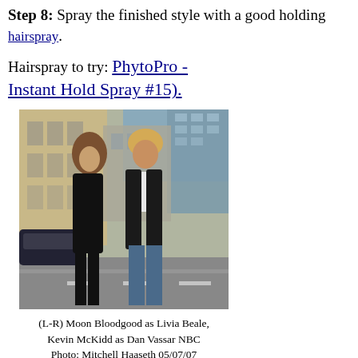Step 8: Spray the finished style with a good holding hairspray.
Hairspray to try: PhytoPro - Instant Hold Spray #15).
[Figure (photo): Photo of two people (a woman with curly hair in black outfit and a man in a black jacket) standing on an urban street with buildings in the background.]
(L-R) Moon Bloodgood as Livia Beale, Kevin McKidd as Dan Vassar NBC Photo: Mitchell Haaseth 05/07/07